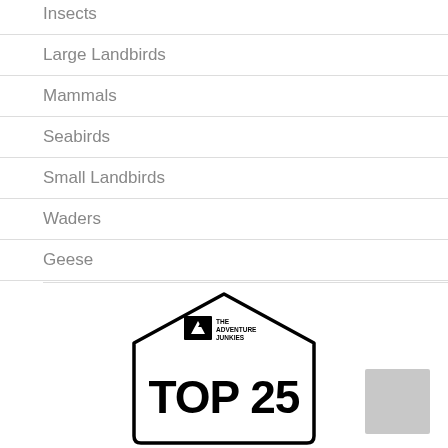Insects
Large Landbirds
Mammals
Seabirds
Small Landbirds
Waders
Geese
[Figure (logo): The Adventure Junkies TOP 25 badge/logo in black and white, pentagon-shaped sign style]